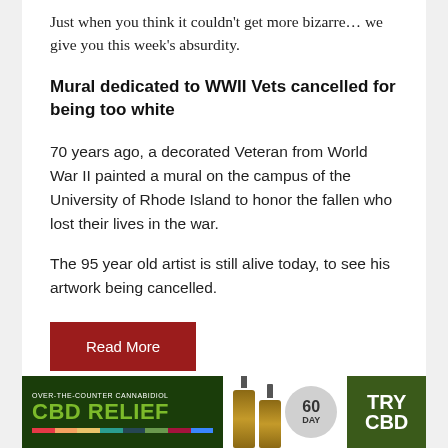Just when you think it couldn't get more bizarre… we give you this week's absurdity.
Mural dedicated to WWII Vets cancelled for being too white
70 years ago, a decorated Veteran from World War II painted a mural on the campus of the University of Rhode Island to honor the fallen who lost their lives in the war.
The 95 year old artist is still alive today, to see his artwork being cancelled.
Read More
[Figure (advertisement): CBD Relief advertisement banner showing CBD oil bottles, 60-day guarantee badge, and 'TRY CBD' text on green background]